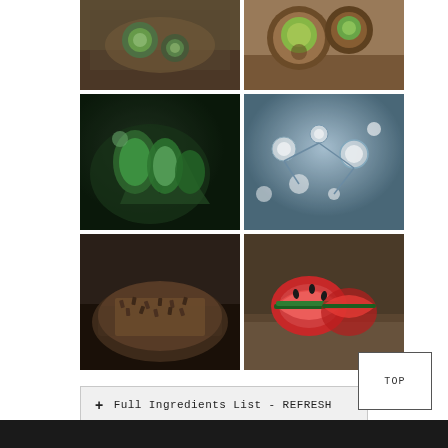[Figure (photo): Photo of sliced cucumber on a burlap and wood surface]
[Figure (photo): Photo of sliced kiwi fruit on wooden surface]
[Figure (photo): Photo of fresh green mint leaves]
[Figure (photo): Photo of water bubbles and molecular structure]
[Figure (photo): Photo of seeds on a dark plate]
[Figure (photo): Photo of sliced watermelon on a dark plate with cloth]
+ Full Ingredients List - REFRESH
TOP